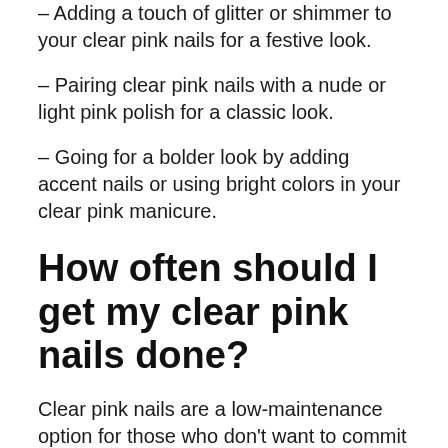– Adding a touch of glitter or shimmer to your clear pink nails for a festive look.
– Pairing clear pink nails with a nude or light pink polish for a classic look.
– Going for a bolder look by adding accent nails or using bright colors in your clear pink manicure.
How often should I get my clear pink nails done?
Clear pink nails are a low-maintenance option for those who don't want to commit to getting their nails done every week. We